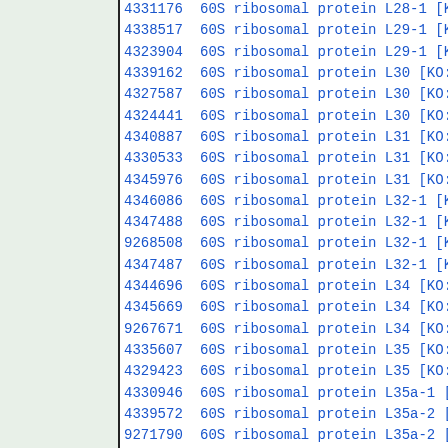| ID | Description |
| --- | --- |
| 4331176 | 60S ribosomal protein L28-1 [K... |
| 4338517 | 60S ribosomal protein L29-1 [K... |
| 4323904 | 60S ribosomal protein L29-1 [K... |
| 4339162 | 60S ribosomal protein L30 [KO:... |
| 4327587 | 60S ribosomal protein L30 [KO:... |
| 4324441 | 60S ribosomal protein L30 [KO:... |
| 4340887 | 60S ribosomal protein L31 [KO:... |
| 4330533 | 60S ribosomal protein L31 [KO:... |
| 4345976 | 60S ribosomal protein L31 [KO:... |
| 4346086 | 60S ribosomal protein L32-1 [K... |
| 4347488 | 60S ribosomal protein L32-1 [K... |
| 9268508 | 60S ribosomal protein L32-1 [K... |
| 4347487 | 60S ribosomal protein L32-1 [K... |
| 4344696 | 60S ribosomal protein L34 [KO:... |
| 4345669 | 60S ribosomal protein L34 [KO:... |
| 9267671 | 60S ribosomal protein L34 [KO:... |
| 4335607 | 60S ribosomal protein L35 [KO:... |
| 4329423 | 60S ribosomal protein L35 [KO:... |
| 4330946 | 60S ribosomal protein L35a-1 [... |
| 4339572 | 60S ribosomal protein L35a-2 [... |
| 9271790 | 60S ribosomal protein L35a-2 [... |
| 4339011 | 60S ribosomal protein L36-3 [K... |
| 4327391 | 60S ribosomal protein L36-3 [K... |
| 4328048 | 60S ribosomal protein L37-1 [K... |
| 9267955 | 60S ribosomal protein L37-3 [K... |